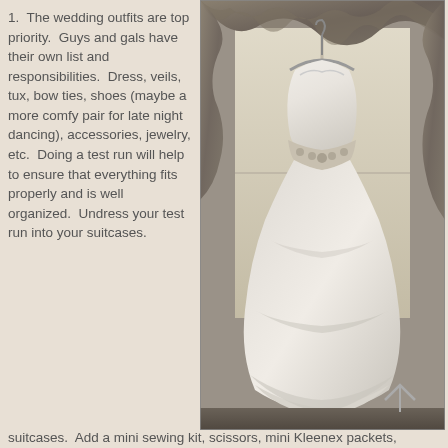1.  The wedding outfits are top priority.  Guys and gals have their own list and responsibilities.  Dress, veils, tux, bow ties, shoes (maybe a more comfy pair for late night dancing), accessories, jewelry, etc.  Doing a test run will help to ensure that everything fits properly and is well organized.  Undress your test run into your suitcases.  Add a mini sewing kit, scissors, mini Kleenex packets,
[Figure (photo): Black and white / sepia tone photograph of a white ball gown wedding dress hanging on a hanger in front of a window with ornate curtains/valance. The dress has a sweetheart neckline, embellished belt/sash, and a full tulle skirt.]